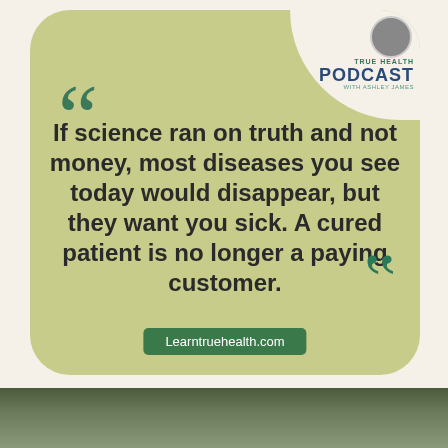[Figure (infographic): Quote card with olive/sage green rounded rectangle background. Large open quote marks in dark green top-left. Text quote in bold dark font. Closing quote marks bottom-right. Website badge at bottom. Podcast logo with circular photo in top-right corner cutout.]
If science ran on truth and not money, most diseases you see today would disappear, but they want you sick. A cured patient is no longer a paying customer.
Learntruehealth.com
[Figure (photo): Bottom portion of a photo showing a person outdoors, with trees and landscape in the background. Only the top of the person's head is visible.]